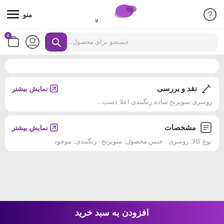منو header with logo, question icon, hamburger menu
جستجو برای محصول...
نقد و بررسی
نمایش بیشتر
روسری سوپرنخ ساده رنگبندی اعلا دست...
مشخصات
نمایش بیشتر
نوع کالا: روسری جنس محصول: سوپرنخ رنگبندی: موجود
افزودن به سبد خرید